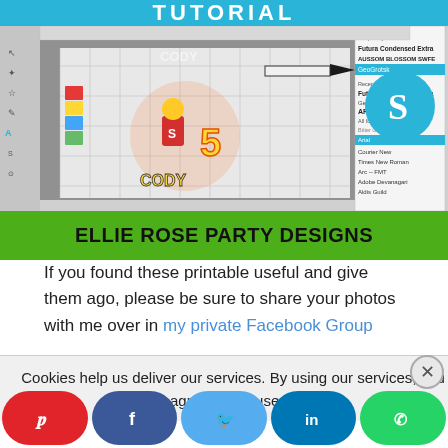[Figure (screenshot): Tutorial header with 'TUTORIAL' text in white on blue bar, and a screenshot of a design software (Silhouette Studio) showing a LEGO-themed birthday cake topper for 'CODY' age 5, with a font selection dropdown list visible on the right side of the software interface. The Silhouette logo (teal circle with white S) is visible at top right.]
[Figure (logo): Green banner with bold black text: ELLIE ROSE PARTY DESIGNS]
If you found these printable useful and give them ago, please be sure to share your photos with me over in my private Facebook Group
Cookies help us deliver our services. By using our services, you agree to our use of
[Figure (infographic): Social share button row: Pinterest (red), Facebook (dark blue), Twitter (light blue), LinkedIn (blue), WhatsApp (green)]